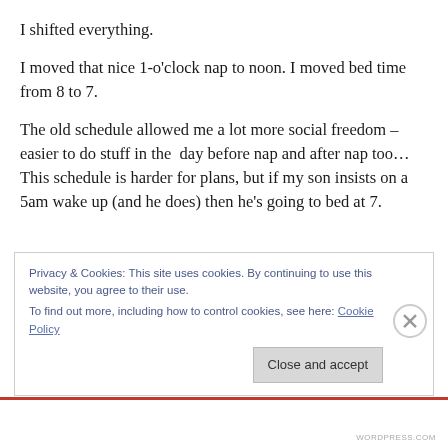I shifted everything.
I moved that nice 1-o'clock nap to noon. I moved bed time from 8 to 7.
The old schedule allowed me a lot more social freedom – easier to do stuff in the  day before nap and after nap too… This schedule is harder for plans, but if my son insists on a 5am wake up (and he does) then he's going to bed at 7.
Privacy & Cookies: This site uses cookies. By continuing to use this website, you agree to their use.
To find out more, including how to control cookies, see here: Cookie Policy
Close and accept
WORDPRESS.COM